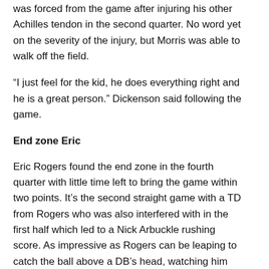was forced from the game after injuring his other Achilles tendon in the second quarter. No word yet on the severity of the injury, but Morris was able to walk off the field.
“I just feel for the kid, he does everything right and he is a great person.” Dickenson said following the game.
End zone Eric
Eric Rogers found the end zone in the fourth quarter with little time left to bring the game within two points. It’s the second straight game with a TD from Rogers who was also interfered with in the first half which led to a Nick Arbuckle rushing score. As impressive as Rogers can be leaping to catch the ball above a DB’s head, watching him shed tacklers for six is even prettier. Rogers caught the ball on the four and broke two tackles on his way to the goal line.
Canadian REC depth?